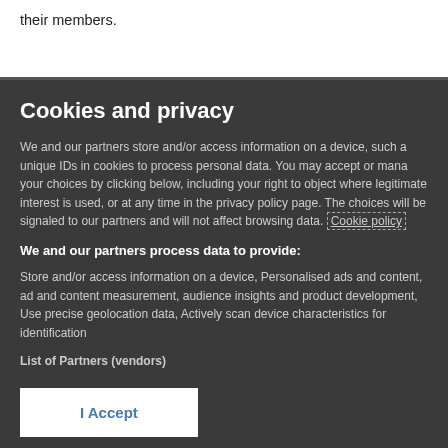their members.
Cookies and privacy
We and our partners store and/or access information on a device, such a unique IDs in cookies to process personal data. You may accept or mana your choices by clicking below, including your right to object where legitimate interest is used, or at any time in the privacy policy page. The choices will be signaled to our partners and will not affect browsing data. Cookie policy
We and our partners process data to provide:
Store and/or access information on a device, Personalised ads and content, ad and content measurement, audience insights and product development, Use precise geolocation data, Actively scan device characteristics for identification
List of Partners (vendors)
I Accept